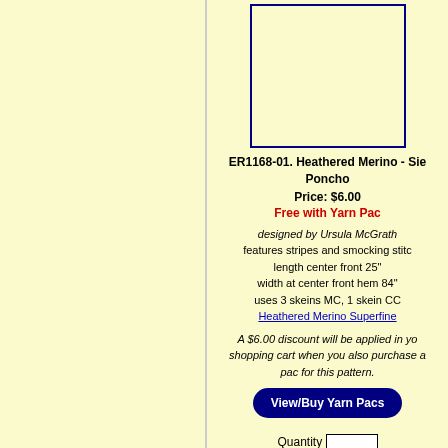[Figure (photo): Product image placeholder box with dark navy border on yellow background]
ER1168-01. Heathered Merino - Sie Poncho
Price: $6.00
Free with Yarn Pac
designed by Ursula McGrath
features stripes and smocking stitch
length center front 25"
width at center front hem 84"
uses 3 skeins MC, 1 skein CC
Heathered Merino Superfine
A $6.00 discount will be applied in your shopping cart when you also purchase a pac for this pattern.
View/Buy Yarn Pacs
Quantity